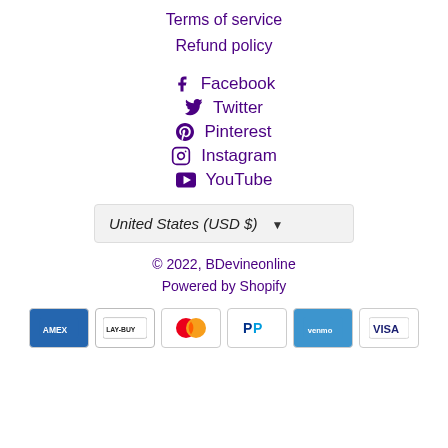Terms of service
Refund policy
Facebook
Twitter
Pinterest
Instagram
YouTube
United States (USD $)
© 2022, BDevineonline
Powered by Shopify
[Figure (other): Payment method icons: American Express, Laybuy, Mastercard, PayPal, Venmo, Visa]